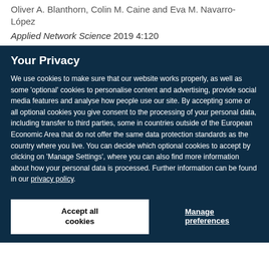Oliver A. Blanthorn, Colin M. Caine and Eva M. Navarro-López
Applied Network Science 2019 4:120
Your Privacy
We use cookies to make sure that our website works properly, as well as some 'optional' cookies to personalise content and advertising, provide social media features and analyse how people use our site. By accepting some or all optional cookies you give consent to the processing of your personal data, including transfer to third parties, some in countries outside of the European Economic Area that do not offer the same data protection standards as the country where you live. You can decide which optional cookies to accept by clicking on 'Manage Settings', where you can also find more information about how your personal data is processed. Further information can be found in our privacy policy.
Accept all cookies
Manage preferences